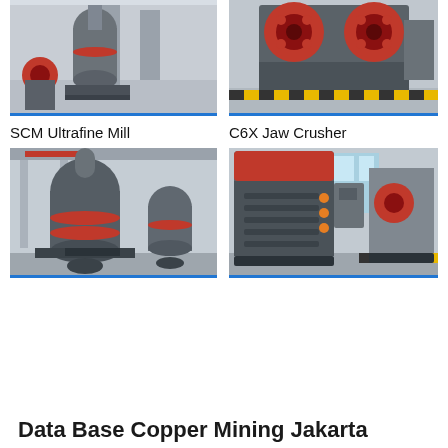[Figure (photo): Industrial grinding mill machine in a factory setting with red and gray machinery.]
[Figure (photo): C6X Jaw Crusher machine with large red wheels/pulleys and black/yellow safety markings on the floor.]
SCM Ultrafine Mill
C6X Jaw Crusher
[Figure (photo): SCM Ultrafine Mill machine in factory — large dark cylindrical grinding mill with red accent rings.]
[Figure (photo): C6X Jaw Crusher machine — large dark gray crusher with orange/red accent panels in a factory.]
Data Base Copper Mining Jakarta